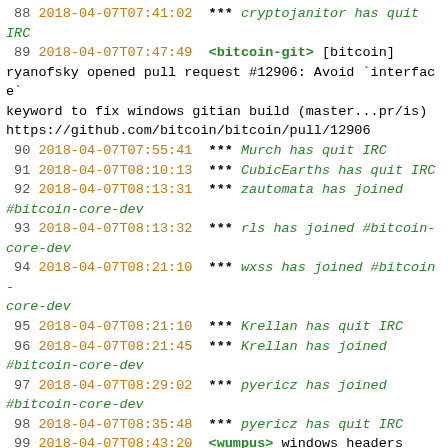88 2018-04-07T07:41:02 *** cryptojanitor has quit IRC
89 2018-04-07T07:47:49 <bitcoin-git> [bitcoin] ryanofsky opened pull request #12906: Avoid `interface` keyword to fix windows gitian build (master...pr/is) https://github.com/bitcoin/bitcoin/pull/12906
90 2018-04-07T07:55:41 *** Murch has quit IRC
91 2018-04-07T08:10:13 *** CubicEarths has quit IRC
92 2018-04-07T08:13:31 *** zautomata has joined #bitcoin-core-dev
93 2018-04-07T08:13:32 *** rls has joined #bitcoin-core-dev
94 2018-04-07T08:21:10 *** wxss has joined #bitcoin-core-dev
95 2018-04-07T08:21:10 *** Krellan has quit IRC
96 2018-04-07T08:21:45 *** Krellan has joined #bitcoin-core-dev
97 2018-04-07T08:29:02 *** pyericz has joined #bitcoin-core-dev
98 2018-04-07T08:35:48 *** pyericz has quit IRC
99 2018-04-07T08:43:20 <wumpus> windows headers #ifdef the word 'interface'?! that's pretty silly
100 2018-04-07T08:44:46 *** justanotheruser has quit IRC
101 2018-04-07T08:51:18 *** pyericz has joined #bitcoin-core-dev
102 2018-04-07T08:51:46 *** mrannanay has joined